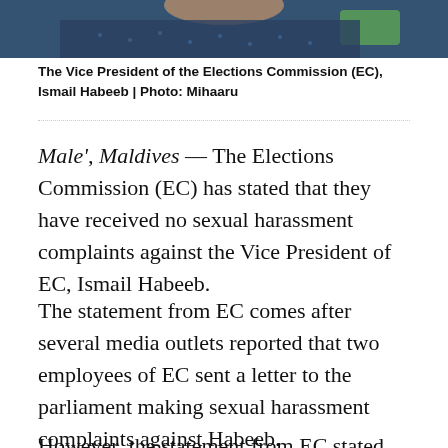[Figure (photo): Partial photo of a person wearing a dark blue patterned shirt, cropped at the top of the page]
The Vice President of the Elections Commission (EC), Ismail Habeeb | Photo: Mihaaru
Male', Maldives — The Elections Commission (EC) has stated that they have received no sexual harassment complaints against the Vice President of EC, Ismail Habeeb.
The statement from EC comes after several media outlets reported that two employees of EC sent a letter to the parliament making sexual harassment complaints against Habeeb.
However, the statement from EC stated that the